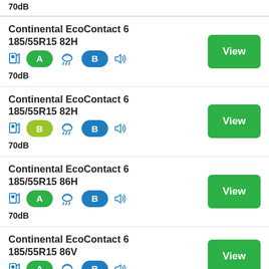70dB
Continental EcoContact 6 185/55R15 82H — fuel: A, wet: B, 70dB
Continental EcoContact 6 185/55R15 82H — fuel: B, wet: B, 70dB
Continental EcoContact 6 185/55R15 86H — fuel: A, wet: B, 70dB
Continental EcoContact 6 185/55R15 86V — fuel: A, wet: B